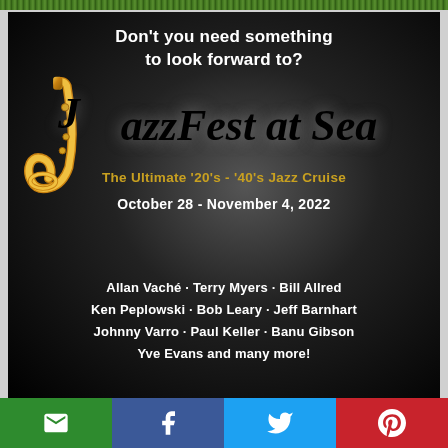[Figure (illustration): Decorative green banner bar at top of page]
Don't you need something to look forward to?
[Figure (logo): JazzFest at Sea logo with saxophone image, cursive italic black text 'JazzFest at Sea', gold subtitle 'The Ultimate '20's - '40's Jazz Cruise', white date text 'October 28 - November 4, 2022', and white performer names listed below on dark gradient background]
Allan Vaché · Terry Myers · Bill Allred Ken Peplowski · Bob Leary · Jeff Barnhart Johnny Varro · Paul Keller · Banu Gibson Yve Evans and many more!
[Figure (infographic): Social sharing bar with email (green), Facebook (blue), Twitter (light blue), and Pinterest (red) buttons]